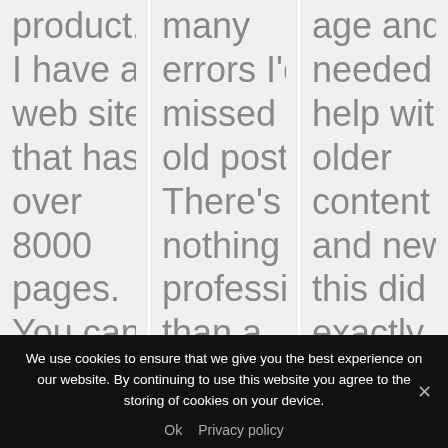product. I have a web site that has over 8000 pages. You can imagine
many errors I'd missed on old posts. There's nothing le professio than a website
age and needed help with older content and new, this did exactly what I
We use cookies to ensure that we give you the best experience on our website. By continuing to use this website you agree to the storing of cookies on your device.
Ok  Privacy policy